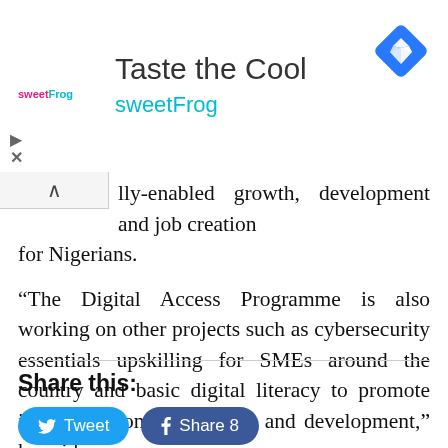[Figure (screenshot): Advertisement banner for sweetFrog frozen yogurt. Shows 'Taste the Cool' heading, sweetFrog logo and brand name in cyan, and a blue diamond navigation icon on the right.]
lly-enabled growth, development and job creation for Nigerians.
“The Digital Access Programme is also working on other projects such as cybersecurity essentials upskilling for SMEs around the country and basic digital literacy to promote inclusive economic growth and development,” he said.
Share this:
[Figure (screenshot): Social share buttons: blue rounded 'Tweet' button with Twitter bird icon, and dark blue rounded 'Share 8' button with Facebook f icon.]